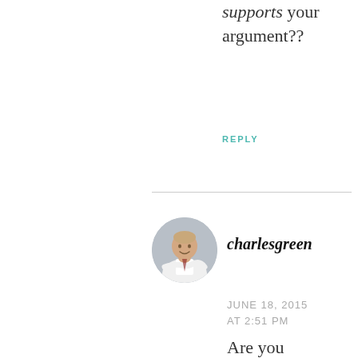supports your argument??
REPLY
[Figure (photo): Circular avatar photo of a man in white shirt with arms crossed, smiling, on a light grey background]
charlesgreen
JUNE 18, 2015 AT 2:51 PM
Are you